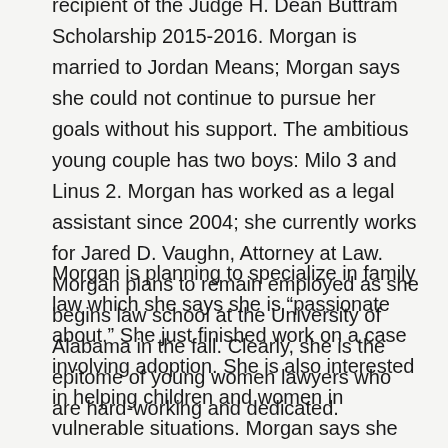recipient of the Judge H. Dean Buttram Scholarship 2015-2016. Morgan is married to Jordan Means; Morgan says she could not continue to pursue her goals without his support. The ambitious young couple has two boys: Milo 3 and Linus 2. Morgan has worked as a legal assistant since 2004; she currently works for Jared D. Vaughn, Attorney at Law. Morgan plans to remain employed as she begins law school at the University of Alabama in the fall. Clearly, she is the epitome of young women lawyers who are hard-working and dedicated.
Morgan is planning to specialize in family law which she says she is “passionate about.” She just finished work on a case involving adoption. She is also interested in helping children and women in vulnerable situations. Morgan says she has